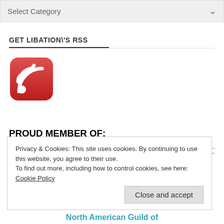Select Category
GET LIBATION\'S RSS
[Figure (logo): Red RSS feed icon with white signal waves]
PROUD MEMBER OF:
[Figure (illustration): Partial blue icon/logo shape visible in member box]
Privacy & Cookies: This site uses cookies. By continuing to use this website, you agree to their use.
To find out more, including how to control cookies, see here: Cookie Policy
Close and accept
North American Guild of